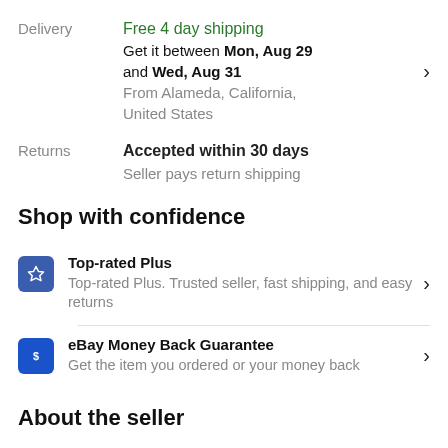Delivery: Free 4 day shipping. Get it between Mon, Aug 29 and Wed, Aug 31. From Alameda, California, United States
Returns: Accepted within 30 days. Seller pays return shipping
Shop with confidence
Top-rated Plus. Top-rated Plus. Trusted seller, fast shipping, and easy returns
eBay Money Back Guarantee. Get the item you ordered or your money back
About the seller